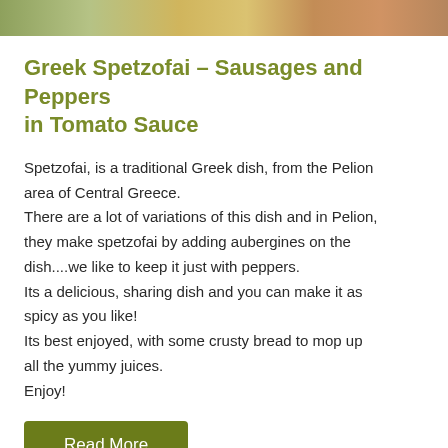[Figure (photo): Partial view of food photograph at top of page, showing vegetables/peppers in warm colors]
Greek Spetzofai – Sausages and Peppers in Tomato Sauce
Spetzofai, is a traditional Greek dish, from the Pelion area of Central Greece.
There are a lot of variations of this dish and in Pelion, they make spetzofai by adding aubergines on the dish....we like to keep it just with peppers.
Its a delicious, sharing dish and you can make it as spicy as you like!
Its best enjoyed, with some crusty bread to mop up all the yummy juices.
Enjoy!
Read More
Mar 19, 2022